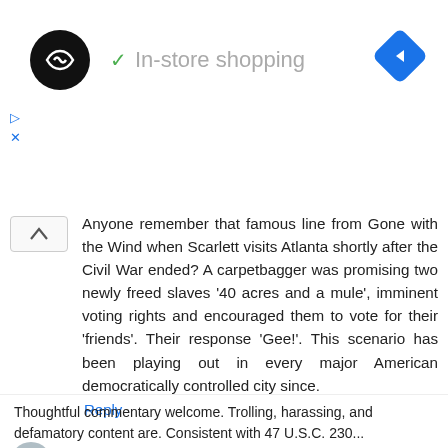[Figure (screenshot): Ad banner with black circular logo with double-arrow symbol, checkmark and 'In-store shopping' text, blue diamond navigation icon, and small play/close controls]
Anyone remember that famous line from Gone with the Wind when Scarlett visits Atlanta shortly after the Civil War ended? A carpetbagger was promising two newly freed slaves '40 acres and a mule', imminent voting rights and encouraged them to vote for their 'friends'. Their response 'Gee!'. This scenario has been playing out in every major American democratically controlled city since.
Reply
Enter Comment
Thoughtful commentary welcome. Trolling, harassing, and defamatory content are. Consistent with 47 U.S.C. 230...